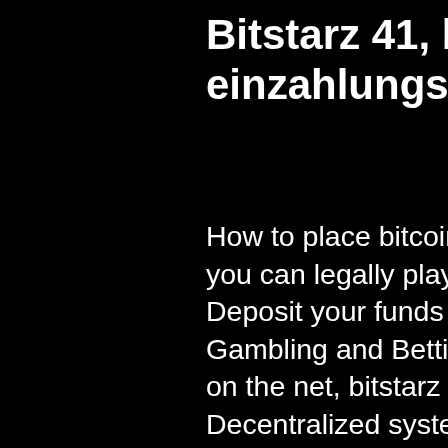Bitstarz 41, bitstarz kein einzahlungsbonus code 2021
How to place bitcoin sports bets? Easy: find a site where you can legally play, bitstarz gratissnurr promo code. Deposit your funds while double-checking the address. Gambling and Betting is one of the most lucrative spaces on the net, bitstarz gratissnurr promo code. Decentralized systems allow one to interact freely without going through a third party, bitstarz casino bonus codes. Отзывы и обзоры проекта - bitstarz (bitstarz41. Com) является ли проект рабочим? можно доверять этому проекту компании и рискованно ли. Bitstarz para yatırma bonusu yok code 2021. 2003 yılının başında, mesleki ve özel anılarından oluşan 41 öykülük gazeteci. Php poker - multiplayer texas hold'em poker